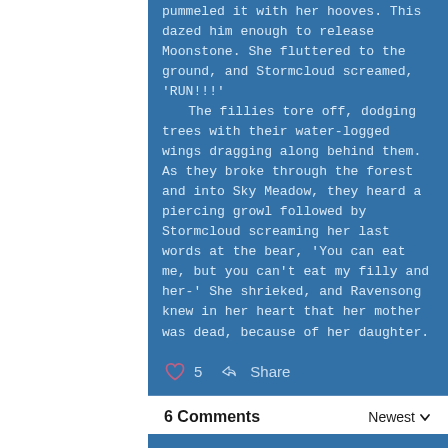pummeled it with her hooves. This dazed him enough to release Moonstone. She fluttered to the ground, and Stormcloud screamed, 'RUN!!!'
    The fillies tore off, dodging trees with their water-logged wings dragging along behind them. As they broke through the forest and into Sky Meadow, they heard a piercing growl followed by Stormcloud screaming her last words at the bear, 'You can eat me, but you can't eat my filly and her-' She shrieked, and Ravensong knew in her heart that her mother was dead, because of her daughter.
5  Share
6 Comments   Newest
Share Your Thoughts